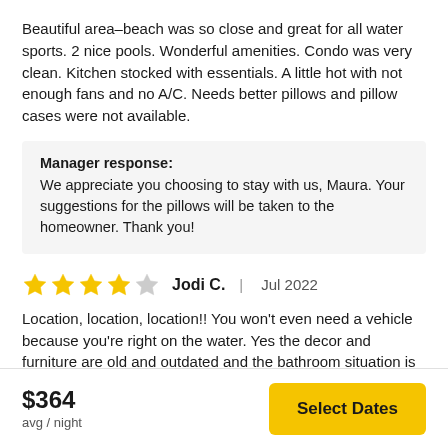Beautiful area–beach was so close and great for all water sports. 2 nice pools. Wonderful amenities. Condo was very clean. Kitchen stocked with essentials. A little hot with not enough fans and no A/C. Needs better pillows and pillow cases were not available.
Manager response: We appreciate you choosing to stay with us, Maura. Your suggestions for the pillows will be taken to the homeowner. Thank you!
Jodi C.   Jul 2022
Location, location, location!! You won't even need a vehicle because you're right on the water. Yes the decor and furniture are old and outdated and the bathroom situation is strange but functional! We do wish they would invest a little bit into updated functional furniture (pull out couch was broken and so
$364 avg / night
Select Dates